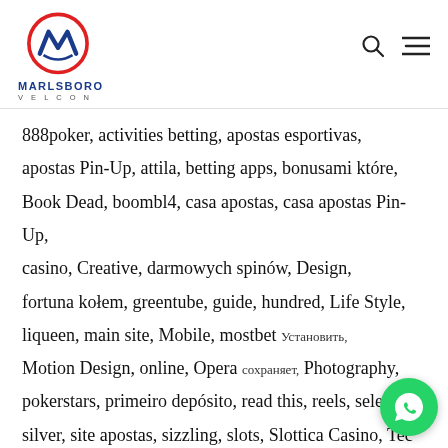[Figure (logo): Marlsboro Velcon logo — circular emblem with M/V letterform in red and blue, company name MARLSBORO in blue bold, VELCON in grey spaced letters below]
888poker, activities betting, apostas esportivas, apostas Pin-Up, attila, betting apps, bonusami które, Book Dead, boombl4, casa apostas, casa apostas Pin-Up, casino, Creative, darmowych spinów, Design, fortuna kołem, greentube, guide, hundred, Life Style, liqueen, main site, Mobile, mostbet Установить, Motion Design, online, Opera сохраняет, Photography, pokerstars, primeiro depósito, read this, reels, selector, silver, site apostas, sizzling, slots, Slottica Casino, Tech, this post, vavada, Vulkan Vegas, Мостбет Официальный, Мо...